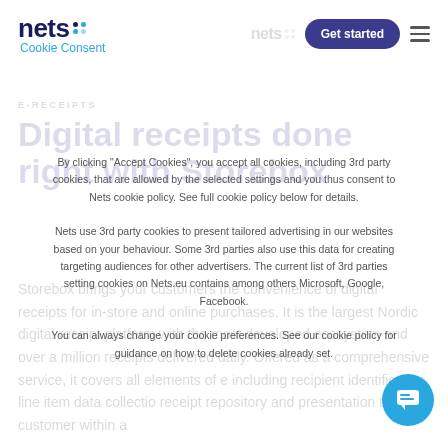nets Cookie Consent — Get started
E-RECEIPTS
Digital receipts done right with Storebox
Storebox brings your customers the convenience of digital receipts for in-store and online purchases. It is the largest Nordic digital receipt platform with the most developed ecosystem and over a million receipts delivered daily. Offered as a comprehensive service, it covers all elements of e- including recipient identification, line item data collectio receipt repository and presentation to the customer within a
By clicking "Accept Cookies", you accept all cookies, including 3rd party cookies, that are allowed by the selected settings and you thus consent to Nets cookie policy. See full cookie policy below for details. Nets use 3rd party cookies to present tailored advertising in our websites based on your behaviour. Some 3rd parties also use this data for creating targeting audiences for other advertisers. The current list of 3rd parties setting cookies on Nets.eu contains among others Microsoft, Google, Facebook. You can always change your cookie preferences. See our cookie policy for guidance on how to delete cookies already set.